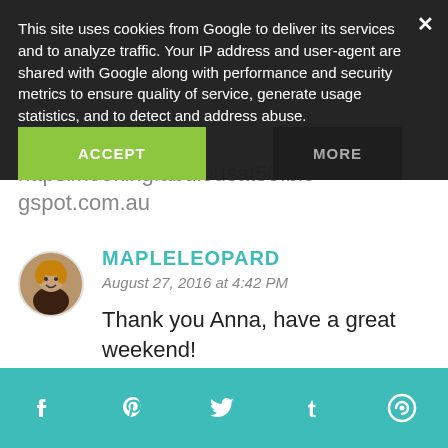This site uses cookies from Google to deliver its services and to analyze traffic. Your IP address and user-agent are shared with Google along with performance and security metrics to ensure quality of service, generate usage statistics, and to detect and address abuse.
https://lookingfabulousat50.blogspot.com.au
MAPLELEOPARD
August 27, 2016 at 4:42 PM
Thank you Anna, have a great weekend!